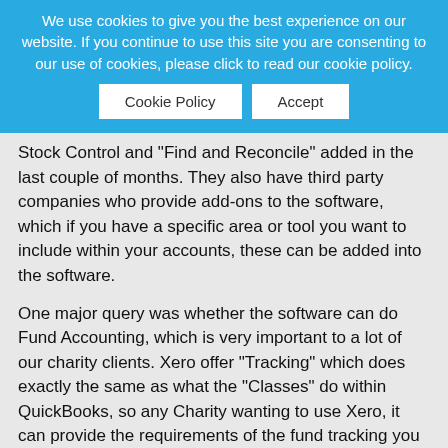We use cookies to give you the best experience on our website. If you continue to use this site you are consenting to our use of cookies, please click to read our cookie policy.
Cookie Policy | Accept
Stock Control and "Find and Reconcile" added in the last couple of months. They also have third party companies who provide add-ons to the software, which if you have a specific area or tool you want to include within your accounts, these can be added into the software.
One major query was whether the software can do Fund Accounting, which is very important to a lot of our charity clients. Xero offer "Tracking" which does exactly the same as what the "Classes" do within QuickBooks, so any Charity wanting to use Xero, it can provide the requirements of the fund tracking you need.
Overall I believe Xero is a very good product, and certainly something we would offer to our clients alongside QuickBooks. At the end of the day, our client's needs are what's important to us, so if you would prefer one over the other, we would be happy to help get you started and provide the support you need. We have a good team here at Caladine which like to keep on top of the latest software and products